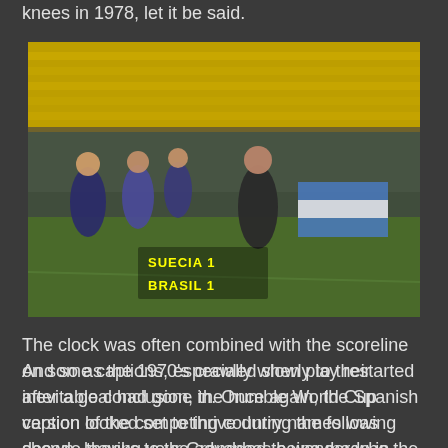knees in 1978, let it be said.
[Figure (photo): A football match scene from 1978 with players and crowd visible, showing a Spanish-language scoreboard overlay reading SUECIA 1 / BRASIL 1]
The clock was often combined with the scoreline on some captions, especially when play restarted after a goal had gone in. Once again, the Spanish version of the competing country names was shown, leaving your Granddad to wonder who the hell 'Alemania' and 'Suecia' were and whether they were actually on our side during the war or not, amongst other things.
And so as the 1970's crawled slowly to their inevitable conclusion, the humble World Cup caption looked set to thrive during the following decade thanks to the advances being made in computer technology. Yet for all that, it would